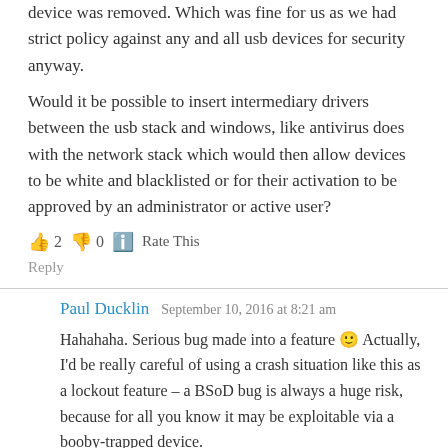device was removed. Which was fine for us as we had strict policy against any and all usb devices for security anyway. Would it be possible to insert intermediary drivers between the usb stack and windows, like antivirus does with the network stack which would then allow devices to be white and blacklisted or for their activation to be approved by an administrator or active user?
👍 2 👎 0 ℹ Rate This
Reply
Paul Ducklin  September 10, 2016 at 8:21 am
Hahahaha. Serious bug made into a feature 🙂 Actually, I'd be really careful of using a crash situation like this as a lockout feature – a BSoD bug is always a huge risk, because for all you know it may be exploitable via a booby-trapped device.